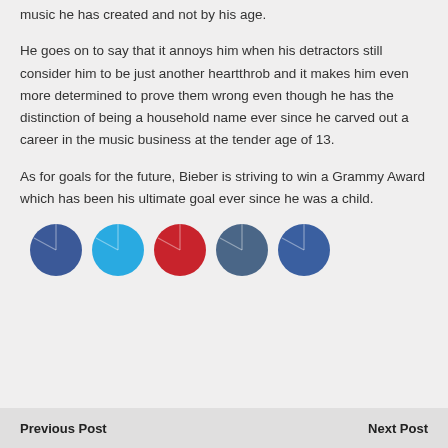music he has created and not by his age.
He goes on to say that it annoys him when his detractors still consider him to be just another heartthrob and it makes him even more determined to prove them wrong even though he has the distinction of being a household name ever since he carved out a career in the music business at the tender age of 13.
As for goals for the future, Bieber is striving to win a Grammy Award which has been his ultimate goal ever since he was a child.
[Figure (illustration): Five social media share buttons as colored circles: Facebook (dark blue), Twitter (light blue), Pinterest (red), another social (dark slate blue), and another (medium blue).]
Previous Post   Next Post